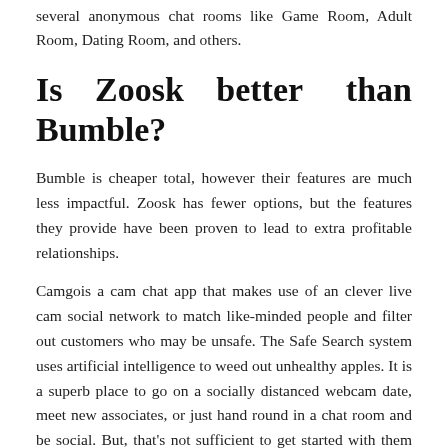several anonymous chat rooms like Game Room, Adult Room, Dating Room, and others.
Is Zoosk better than Bumble?
Bumble is cheaper total, however their features are much less impactful. Zoosk has fewer options, but the features they provide have been proven to lead to extra profitable relationships.
Camgois a cam chat app that makes use of an clever live cam social network to match like-minded people and filter out customers who may be unsafe. The Safe Search system uses artificial intelligence to weed out unhealthy apples. It is a superb place to go on a socially distanced webcam date, meet new associates, or just hand round in a chat room and be social. But, that's not sufficient to get started with them as a end result of